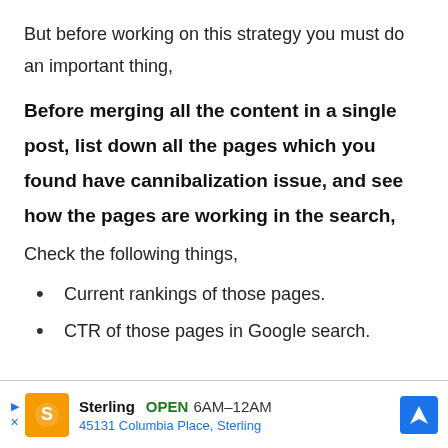But before working on this strategy you must do an important thing,
Before merging all the content in a single post, list down all the pages which you found have cannibalization issue, and see how the pages are working in the search,
Check the following things,
Current rankings of those pages.
CTR of those pages in Google search.
[Figure (infographic): Advertisement bar for Sterling restaurant: OPEN 6AM-12AM, 45131 Columbia Place, Sterling]